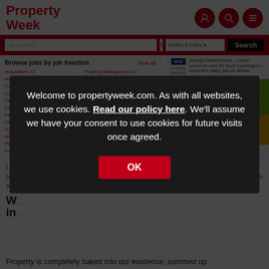[Figure (screenshot): Property Week website header with logo, search bar, job listings by function, sidebar with NHS ad, Get job alerts and Upload your CV panels, and a cookie consent overlay modal.]
Welcome to propertyweek.com. As with all websites, we use cookies. Read our policy here. We'll assume we have your consent to use cookies for future visits once agreed.
OK
Property is completely baked into our existence, summed up